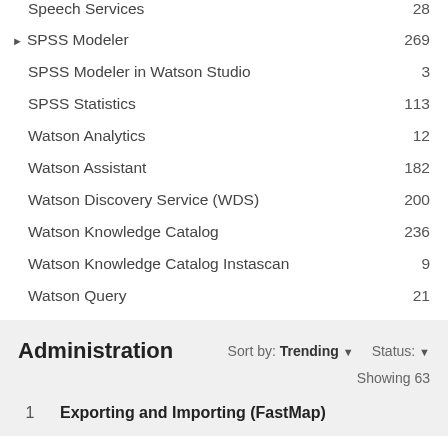Speech Services  28
SPSS Modeler  269
SPSS Modeler in Watson Studio  3
SPSS Statistics  113
Watson Analytics  12
Watson Assistant  182
Watson Discovery Service (WDS)  200
Watson Knowledge Catalog  236
Watson Knowledge Catalog Instascan  9
Watson Query  21
Administration
Sort by: Trending ▼   Status: ▼
Showing 63
1   Exporting and Importing (FastMap)